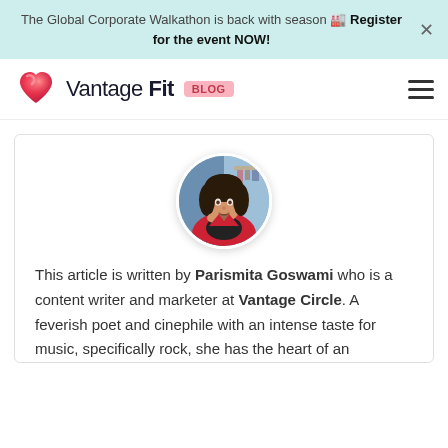The Global Corporate Walkathon is back with season 🏅 Register for the event NOW!
[Figure (logo): Vantage Fit Blog logo with heart icon]
[Figure (photo): Circular profile photo of Parismita Goswami, a woman in a red jacket sitting at a table]
This article is written by Parismita Goswami who is a content writer and marketer at Vantage Circle. A feverish poet and cinephile with an intense taste for music, specifically rock, she has the heart of an